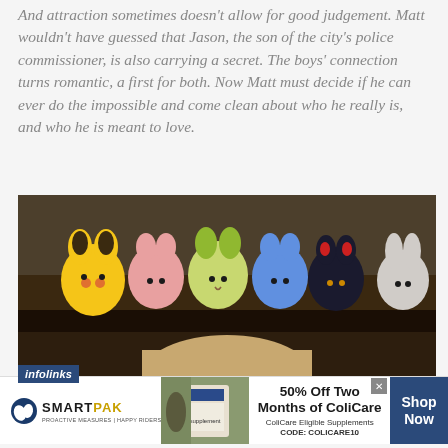And attraction sometimes doesn't allow for good judgement. Matt wouldn't have guessed that Jason, the son of the city's police commissioner, is also carrying a secret. The boys' connection turns romantic, a first for both. Now Matt must decide if he can ever do the impossible and come clean about who he really is, and who he is meant to love.
[Figure (photo): A dark wooden shelf holding colorful Pokemon plush toys (Pikachu, Leafeon, Vaporeon, Umbreon and others), with the back of a child's blonde head visible below]
[Figure (screenshot): SmartPak advertisement banner: SmartPak logo on left, product image in center, '50% Off Two Months of ColiCare - ColiCare Eligible Supplements - CODE: COLICARE10' text, and 'Shop Now' button on right]